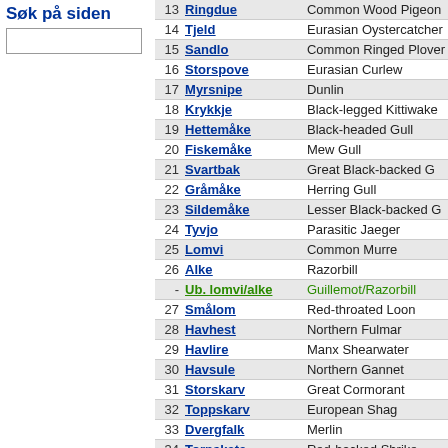Søk på siden
| # | Norwegian name | English name |
| --- | --- | --- |
| 13 | Ringdue | Common Wood Pigeon |
| 14 | Tjeld | Eurasian Oystercatcher |
| 15 | Sandlo | Common Ringed Plover |
| 16 | Storspove | Eurasian Curlew |
| 17 | Myrsnipe | Dunlin |
| 18 | Krykkje | Black-legged Kittiwake |
| 19 | Hettemåke | Black-headed Gull |
| 20 | Fiskemåke | Mew Gull |
| 21 | Svartbak | Great Black-backed Gull |
| 22 | Gråmåke | Herring Gull |
| 23 | Sildemåke | Lesser Black-backed Gull |
| 24 | Tyvjo | Parasitic Jaeger |
| 25 | Lomvi | Common Murre |
| 26 | Alke | Razorbill |
| - | Ub. lomvi/alke | Guillemot/Razorbill |
| 27 | Smålom | Red-throated Loon |
| 28 | Havhest | Northern Fulmar |
| 29 | Havlire | Manx Shearwater |
| 30 | Havsule | Northern Gannet |
| 31 | Storskarv | Great Cormorant |
| 32 | Toppskarv | European Shag |
| 33 | Dvergfalk | Merlin |
| 34 | Tornskate | Red-backed Shrike |
| 35 | Skjære | Common Magpie |